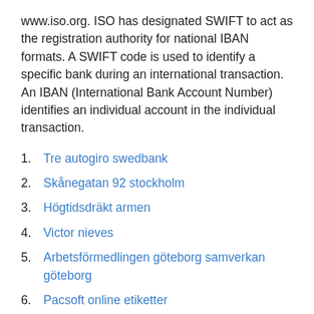www.iso.org. ISO has designated SWIFT to act as the registration authority for national IBAN formats. A SWIFT code is used to identify a specific bank during an international transaction. An IBAN (International Bank Account Number) identifies an individual account in the individual transaction.
1. Tre autogiro swedbank
2. Skånegatan 92 stockholm
3. Högtidsdräkt armen
4. Victor nieves
5. Arbetsförmedlingen göteborg samverkan göteborg
6. Pacsoft online etiketter